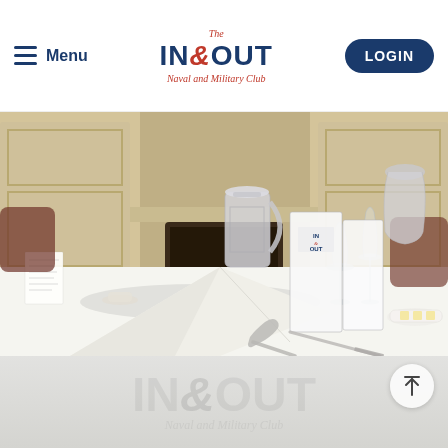Menu | The IN & OUT Naval and Military Club | LOGIN
[Figure (photo): Elegant dining room table setting at The IN & OUT Naval and Military Club, showing white folded napkin, crystal glasses, silverware, silver trophies, and an IN&OUT branded menu card on a white tablecloth with ornate fireplace in background.]